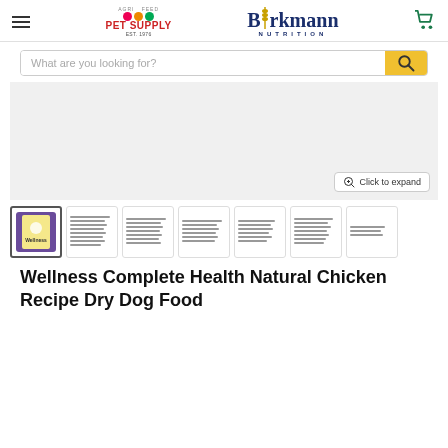[Figure (logo): Agri Pet Supply logo with EST. 1976 text and Burkmann Nutrition logo with wheat stalk graphic, plus hamburger menu icon and shopping cart icon]
What are you looking for?
[Figure (photo): Product image area (gray background) with 'Click to expand' button and magnifying glass icon]
[Figure (photo): Thumbnail strip showing product bag image (selected/highlighted) and multiple smaller feeding guide chart thumbnails]
Wellness Complete Health Natural Chicken Recipe Dry Dog Food